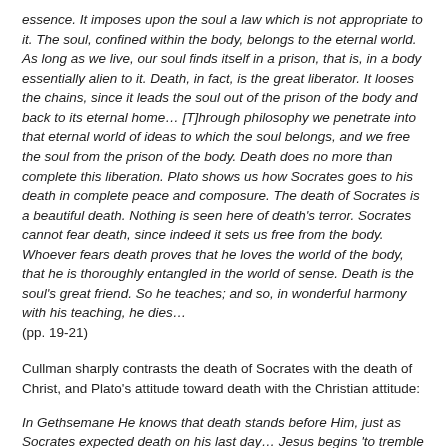essence. It imposes upon the soul a law which is not appropriate to it. The soul, confined within the body, belongs to the eternal world. As long as we live, our soul finds itself in a prison, that is, in a body essentially alien to it. Death, in fact, is the great liberator. It looses the chains, since it leads the soul out of the prison of the body and back to its eternal home… [T]hrough philosophy we penetrate into that eternal world of ideas to which the soul belongs, and we free the soul from the prison of the body. Death does no more than complete this liberation. Plato shows us how Socrates goes to his death in complete peace and composure. The death of Socrates is a beautiful death. Nothing is seen here of death's terror. Socrates cannot fear death, since indeed it sets us free from the body. Whoever fears death proves that he loves the world of the body, that he is thoroughly entangled in the world of sense. Death is the soul's great friend. So he teaches; and so, in wonderful harmony with his teaching, he dies… (pp. 19-21)
Cullman sharply contrasts the death of Socrates with the death of Christ, and Plato's attitude toward death with the Christian attitude:
In Gethsemane He knows that death stands before Him, just as Socrates expected death on his last day… Jesus begins 'to tremble and be distressed', writes Mark (14:33). 'My soul is troubled, even to death', He